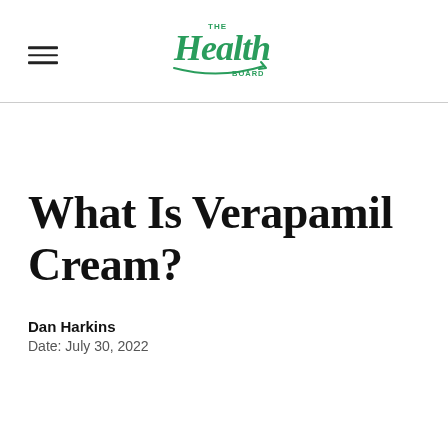The Health Board
What Is Verapamil Cream?
Dan Harkins
Date: July 30, 2022